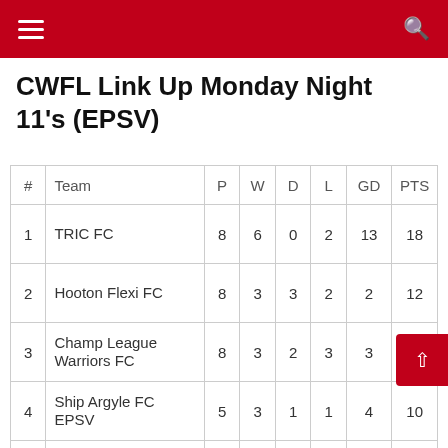CWFL Link Up Monday Night 11's (EPSV)
CWFL Link Up Monday Night 11's (EPSV)
| # | Team | P | W | D | L | GD | PTS |
| --- | --- | --- | --- | --- | --- | --- | --- |
| 1 | TRIC FC | 8 | 6 | 0 | 2 | 13 | 18 |
| 2 | Hooton Flexi FC | 8 | 3 | 3 | 2 | 2 | 12 |
| 3 | Champ League Warriors FC | 8 | 3 | 2 | 3 | 3 | 11 |
| 4 | Ship Argyle FC EPSV | 5 | 3 | 1 | 1 | 4 | 10 |
| 5 | Ellesmere Port Villa FC | 6 | 3 | 0 | 3 | 5 | 9 |
| 6 | Crossway FC | 5 | 1 | 2 | 2 | 1 | 5 |
| 7 | Sutton Rangers FC | 7 | 1 | 0 | 6 | -28 | 3 |